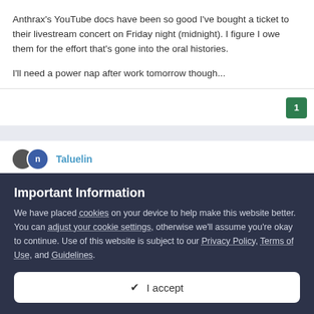Anthrax's YouTube docs have been so good I've bought a ticket to their livestream concert on Friday night (midnight). I figure I owe them for the effort that's gone into the oral histories.
I'll need a power nap after work tomorrow though...
Taluelin
Important Information
We have placed cookies on your device to help make this website better. You can adjust your cookie settings, otherwise we'll assume you're okay to continue. Use of this website is subject to our Privacy Policy, Terms of Use, and Guidelines.
✔  I accept